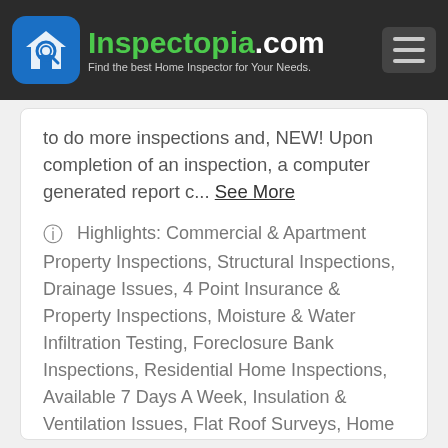Inspectopia.com — Find the best Home Inspector for Your Needs.
to do more inspections and, NEW! Upon completion of an inspection, a computer generated report c... See More
Highlights: Commercial & Apartment Property Inspections, Structural Inspections, Drainage Issues, 4 Point Insurance & Property Inspections, Moisture & Water Infiltration Testing, Foreclosure Bank Inspections, Residential Home Inspections, Available 7 Days A Week, Insulation & Ventilation Issues, Flat Roof Surveys, Home Inspection Reports Within 24 Hours w/ Photos, Mold Testing, Field Service Inspections, New Construction Inspections, Mechanicals